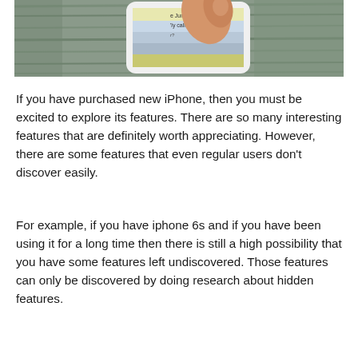[Figure (photo): A hand holding an iPhone with a finger touching the screen, placed on a wooden surface. The phone screen shows a notification or app interface.]
If you have purchased new iPhone, then you must be excited to explore its features. There are so many interesting features that are definitely worth appreciating. However, there are some features that even regular users don't discover easily.
For example, if you have iphone 6s and if you have been using it for a long time then there is still a high possibility that you have some features left undiscovered. Those features can only be discovered by doing research about hidden features.